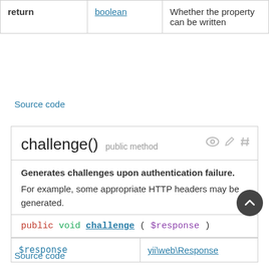|  |  |  |
| --- | --- | --- |
| return | boolean | Whether the property can be written |
Source code
challenge()  public method
Generates challenges upon authentication failure.
For example, some appropriate HTTP headers may be generated.
public void challenge ( $response )
| $response | yii\web\Response |
| --- | --- |
| $response | yii\web\Response |
Source code